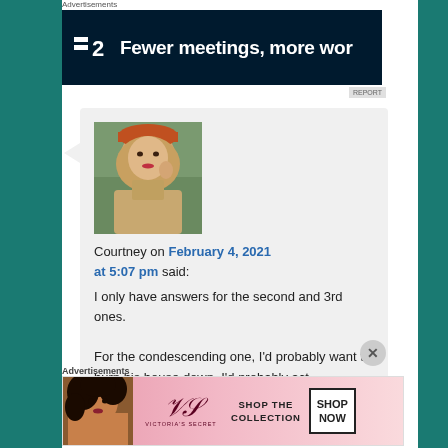Advertisements
[Figure (screenshot): Dark navy advertisement banner: icon with dashes and number 2, text 'Fewer meetings, more work']
[Figure (screenshot): Comment box showing Courtney's profile photo (woman with orange hat and beige coat)]
Courtney on February 4, 2021 at 5:07 pm said:
I only have answers for the second and 3rd ones.

For the condescending one, I'd probably want to burn his house down. I'd probably act nice about it to the actual
Advertisements
[Figure (screenshot): Victoria's Secret advertisement: SHOP THE COLLECTION with SHOP NOW button, pink background with model]